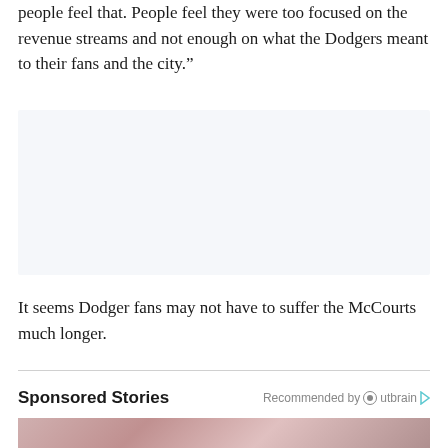people feel that. People feel they were too focused on the revenue streams and not enough on what the Dodgers meant to their fans and the city.”
[Figure (other): Advertisement placeholder box with light gray background]
It seems Dodger fans may not have to suffer the McCourts much longer.
Sponsored Stories
Recommended by Outbrain
[Figure (photo): Partially visible image at bottom of page, pinkish/red tones suggesting a sports or lifestyle photo]